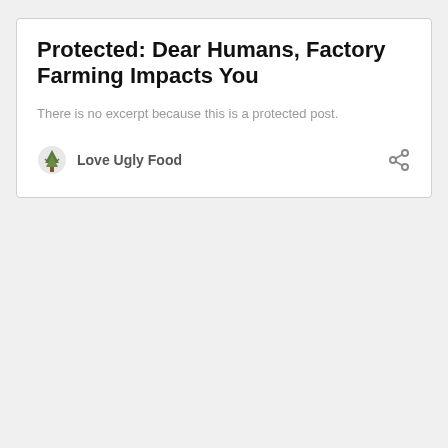Protected: Dear Humans, Factory Farming Impacts You
There is no excerpt because this is a protected post.
Love Ugly Food